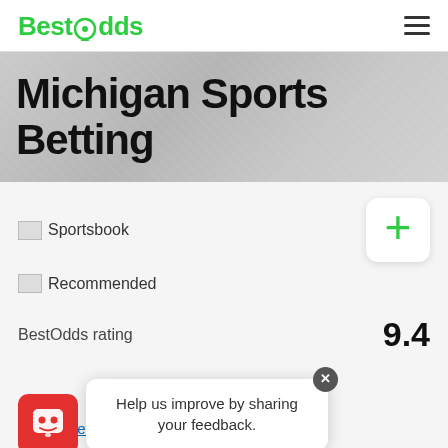BestOdds
Michigan Sports Betting
Sportsbook
Tag  Recommended
BestOdds rating  9.4
See full review
Help us improve by sharing your feedback.